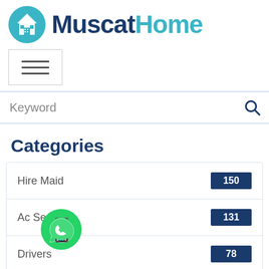[Figure (logo): MuscatHome logo with blue circle containing a house icon and mountains, with brand name 'MuscatHome' in dark blue and teal]
[Figure (other): Hamburger menu button with three horizontal lines inside a bordered box]
[Figure (other): Keyword search bar with a search icon on the right]
Categories
| Category | Count |
| --- | --- |
| Hire Maid | 150 |
| Ac Services | 131 |
| Drivers | 78 |
[Figure (other): WhatsApp green bubble icon overlapping the category list]